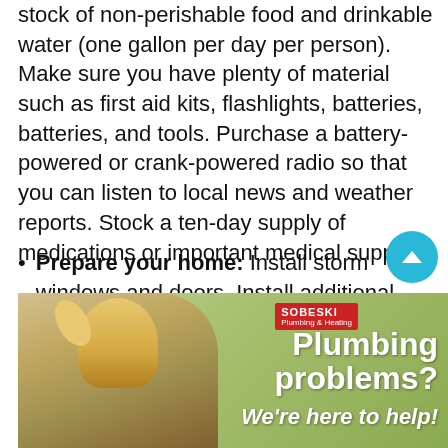stock of non-perishable food and drinkable water (one gallon per day per person). Make sure you have plenty of material such as first aid kits, flashlights, batteries, batteries, and tools. Purchase a battery-powered or crank-powered radio so that you can listen to local news and weather reports. Stock a ten-day supply of medications or important medical supplies.
Prepare your home: Install storm windows and doors. Install additional sliding bolt latches at the tops and bottoms of doors to add additional reinforcement against wind or pressure changes. Check shutters and ensure they are securely attached to the building.
[Figure (photo): Advertisement for Sobeski plumbing company showing a young blonde girl with text 'Plumbing problems? We're here to help!' on a green outdoor background.]